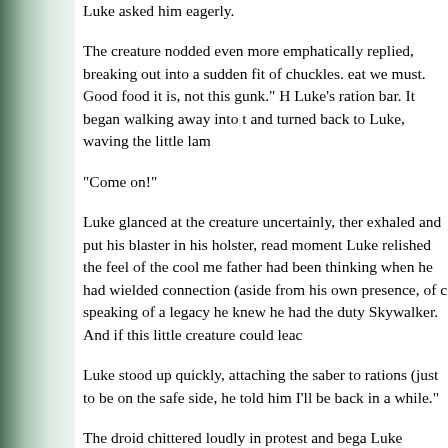Luke asked him eagerly.
The creature nodded even more emphatically replied, breaking out into a sudden fit of chuckles. eat we must. Good food it is, not this gunk. He grabbed Luke's ration bar. It began walking away into the and turned back to Luke, waving the little lamp.
"Come on!"
Luke glanced at the creature uncertainly, then exhaled and put his blaster in his holster, ready. moment Luke relished the feel of the cool metal. His father had been thinking when he had wielded connection (aside from his own presence, of course) speaking of a legacy he knew he had the duty Skywalker. And if this little creature could lead...
Luke stood up quickly, attaching the saber to rations (just to be on the safe side, he told himself). I'll be back in a while."
The droid chittered loudly in protest and began as Luke walked away, and who could blame him. Luke did.
Any more than Leia, in her seething, closed-o...
Shunting his thoughts about how much he such hero with him 2 out of his mind, he trudged off...